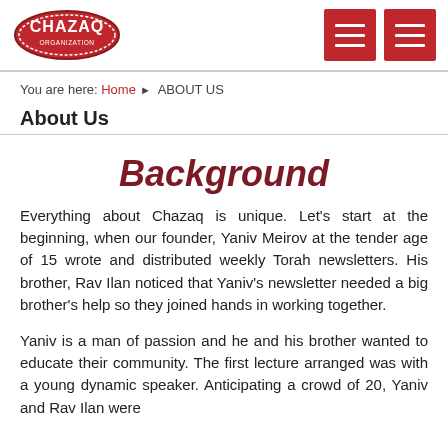CHAZAQ [logo] [menu buttons]
You are here: Home ▶ ABOUT US
About Us
Background
Everything about Chazaq is unique. Let's start at the beginning, when our founder, Yaniv Meirov at the tender age of 15 wrote and distributed weekly Torah newsletters. His brother, Rav Ilan noticed that Yaniv's newsletter needed a big brother's help so they joined hands in working together.
Yaniv is a man of passion and he and his brother wanted to educate their community. The first lecture arranged was with a young dynamic speaker. Anticipating a crowd of 20, Yaniv and Rav Ilan were